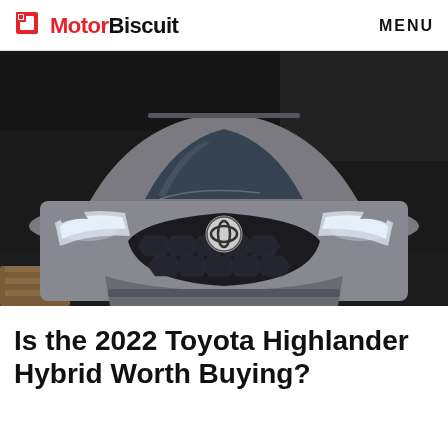MotorBiscuit  MENU
[Figure (photo): Front-facing view of a 2022 Toyota Highlander Hybrid SUV in silver/grey, shot from a low angle in a dark garage setting, showing the grille, Toyota logo, headlights, and bumper.]
Is the 2022 Toyota Highlander Hybrid Worth Buying?